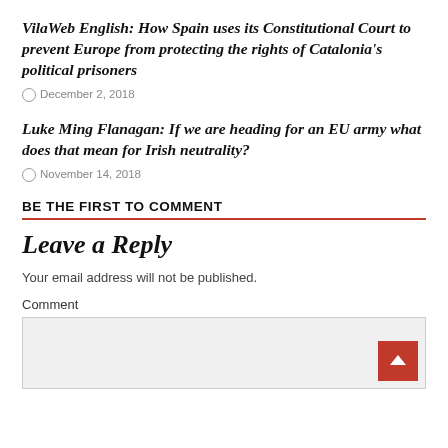VilaWeb English: How Spain uses its Constitutional Court to prevent Europe from protecting the rights of Catalonia's political prisoners
December 2, 2018
Luke Ming Flanagan: If we are heading for an EU army what does that mean for Irish neutrality?
November 14, 2018
BE THE FIRST TO COMMENT
Leave a Reply
Your email address will not be published.
Comment